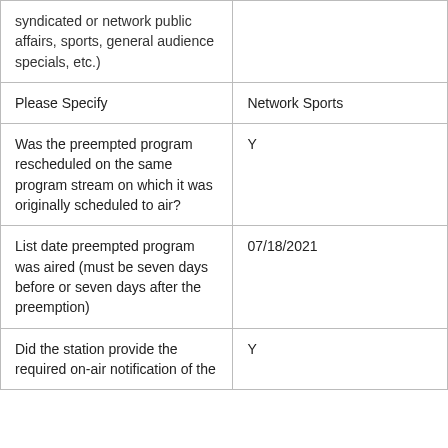| (syndicated or network public affairs, sports, general audience specials, etc.) |  |
| Please Specify | Network Sports |
| Was the preempted program rescheduled on the same program stream on which it was originally scheduled to air? | Y |
| List date preempted program was aired (must be seven days before or seven days after the preemption) | 07/18/2021 |
| Did the station provide the required on-air notification of the | Y |